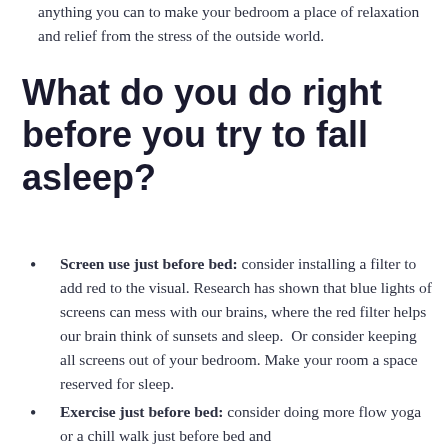anything you can to make your bedroom a place of relaxation and relief from the stress of the outside world.
What do you do right before you try to fall asleep?
Screen use just before bed: consider installing a filter to add red to the visual. Research has shown that blue lights of screens can mess with our brains, where the red filter helps our brain think of sunsets and sleep.  Or consider keeping all screens out of your bedroom. Make your room a space reserved for sleep.
Exercise just before bed: consider doing more flow yoga or a chill walk just before bed and